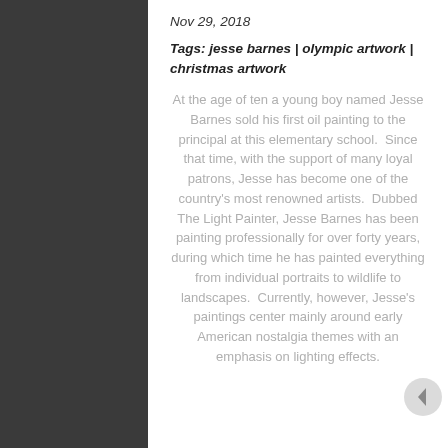Nov 29, 2018
Tags:  jesse barnes | olympic artwork | christmas artwork
At the age of ten a young boy named Jesse Barnes sold his first oil painting to the principal at this elementary school.  Since that time, with the support of many loyal patrons, Jesse has become one of the country's most renowned artists.  Dubbed The Light Painter, Jesse Barnes has been painting professionally for over forty years, during which time he has painted everything from individual portraits to wildlife to landscapes.  Currently, however, Jesse's paintings center mainly around early American nostalgia themes with an emphasis on lighting effects.